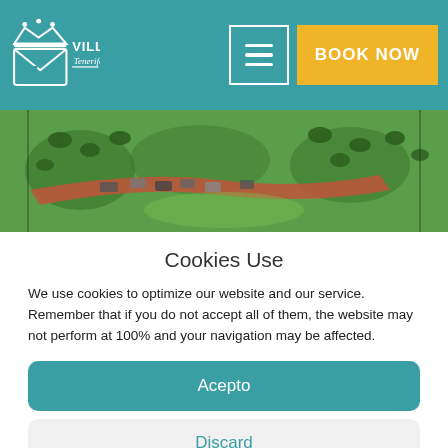Villa Mandi Tenerife — BOOK NOW
[Figure (photo): Aerial view of a green landscaped area with palm trees, paths, and parked cars]
Cookies Use
We use cookies to optimize our website and our service. Remember that if you do not accept all of them, the website may not perform at 100% and your navigation may be affected.
Acepto
Discard
Preferences
Cookies